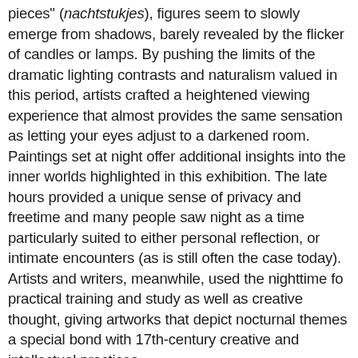pieces" (nachtstukjes), figures seem to slowly emerge from shadows, barely revealed by the flicker of candles or lamps. By pushing the limits of the dramatic lighting contrasts and naturalism valued in this period, artists crafted a heightened viewing experience that almost provides the same sensation as letting your eyes adjust to a darkened room. Paintings set at night offer additional insights into the inner worlds highlighted in this exhibition. The late hours provided a unique sense of privacy and freetime and many people saw night as a time particularly suited to either personal reflection, or intimate encounters (as is still often the case today). Artists and writers, meanwhile, used the nighttime for practical training and study as well as creative thought, giving artworks that depict nocturnal themes a special bond with 17th-century creative and intellectual practices.